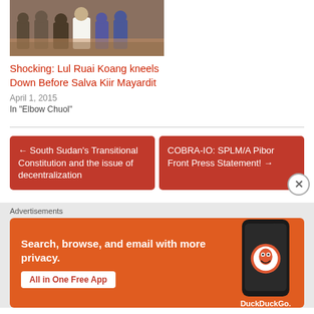[Figure (photo): Group of people gathered together, possibly at a ceremony or meeting]
Shocking: Lul Ruai Koang kneels Down Before Salva Kiir Mayardit
April 1, 2015
In "Elbow Chuol"
← South Sudan's Transitional Constitution and the issue of decentralization
COBRA-IO: SPLM/A Pibor Front Press Statement! →
Advertisements
[Figure (infographic): DuckDuckGo advertisement banner: Search, browse, and email with more privacy. All in One Free App. DuckDuckGo.]